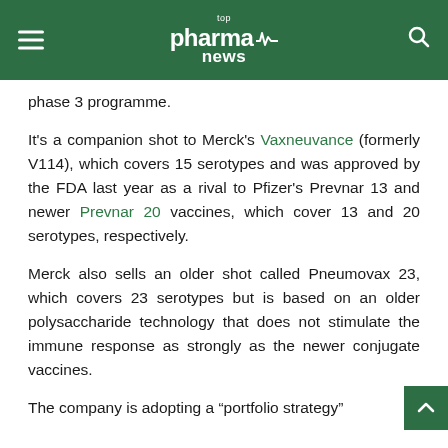top pharma news
phase 3 programme.
It's a companion shot to Merck's Vaxneuvance (formerly V114), which covers 15 serotypes and was approved by the FDA last year as a rival to Pfizer's Prevnar 13 and newer Prevnar 20 vaccines, which cover 13 and 20 serotypes, respectively.
Merck also sells an older shot called Pneumovax 23, which covers 23 serotypes but is based on an older polysaccharide technology that does not stimulate the immune response as strongly as the newer conjugate vaccines.
The company is adopting a “portfolio strategy”